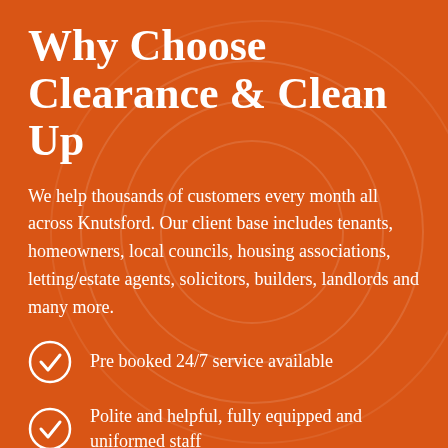Why Choose Clearance & Clean Up
We help thousands of customers every month all across Knutsford. Our client base includes tenants, homeowners, local councils, housing associations, letting/estate agents, solicitors, builders, landlords and many more.
Pre booked 24/7 service available
Polite and helpful, fully equipped and uniformed staff
FACT – We do all the lifting and shifting for